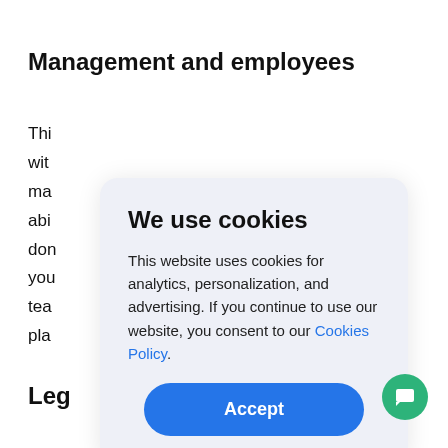Management and employees
Thi... d
wit... d
ma... ,
abi... lso,
don...
you... he
tea...
pla...
[Figure (screenshot): Cookie consent modal dialog with title 'We use cookies', body text about analytics and personalization, a blue Accept button, and a link to Cookies Policy.]
Leg